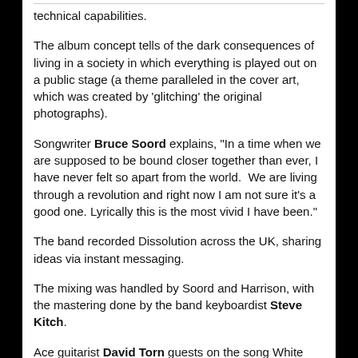technical capabilities.
The album concept tells of the dark consequences of living in a society in which everything is played out on a public stage (a theme paralleled in the cover art, which was created by 'glitching' the original photographs).
Songwriter Bruce Soord explains, "In a time when we are supposed to be bound closer together than ever, I have never felt so apart from the world.  We are living through a revolution and right now I am not sure it's a good one. Lyrically this is the most vivid I have been."
The band recorded Dissolution across the UK, sharing ideas via instant messaging.
The mixing was handled by Soord and Harrison, with the mastering done by the band keyboardist Steve Kitch.
Ace guitarist David Torn guests on the song White Mist.
180g vinyl with a 4 page booklet.
All vinyl orders through Burning Shed come with an exclusive digital download (mp3) of the entire album which will be available on the account page.